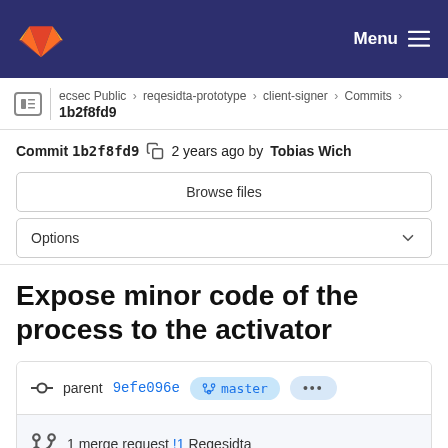GitLab — Menu
ecsec Public > reqesidta-prototype > client-signer > Commits > 1b2f8fd9
Commit 1b2f8fd9  2 years ago by Tobias Wich
Browse files
Options
Expose minor code of the process to the activator
parent 9efe096e  master  ...
1 merge request !1 Reqesidta